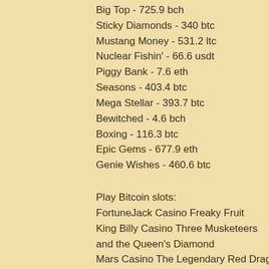Big Top - 725.9 bch
Sticky Diamonds - 340 btc
Mustang Money - 531.2 ltc
Nuclear Fishin' - 66.6 usdt
Piggy Bank - 7.6 eth
Seasons - 403.4 btc
Mega Stellar - 393.7 btc
Bewitched - 4.6 bch
Boxing - 116.3 btc
Epic Gems - 677.9 eth
Genie Wishes - 460.6 btc
Play Bitcoin slots:
FortuneJack Casino Freaky Fruit
King Billy Casino Three Musketeers and the Queen's Diamond
Mars Casino The Legendary Red Dragon
Oshi Casino Evil Genotype
Bspin.io Casino Pharaon
Diamond Reels Casino Lucky Bomber
Vegas Crest Casino Jack Hammer 2